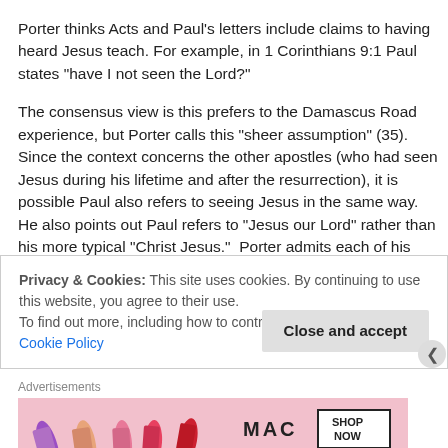Porter thinks Acts and Paul's letters include claims to having heard Jesus teach. For example, in 1 Corinthians 9:1 Paul states “have I not seen the Lord?”
The consensus view is this prefers to the Damascus Road experience, but Porter calls this “sheer assumption” (35). Since the context concerns the other apostles (who had seen Jesus during his lifetime and after the resurrection), it is possible Paul also refers to seeing Jesus in the same way. He also points out Paul refers to “Jesus our Lord” rather than his more typical “Christ Jesus.”  Porter admits each of his points are “slender threads,” but he concludes it is at least plausible
Privacy & Cookies: This site uses cookies. By continuing to use this website, you agree to their use.
To find out more, including how to control cookies, see here: Cookie Policy
Close and accept
Advertisements
[Figure (photo): MAC cosmetics advertisement banner showing colorful lipsticks on the left, MAC logo in center, and a 'SHOP NOW' button on the right]